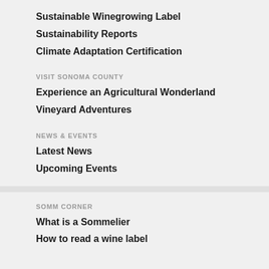Sustainable Winegrowing Label
Sustainability Reports
Climate Adaptation Certification
VISIT SONOMA COUNTY
Experience an Agricultural Wonderland
Vineyard Adventures
NEWS & EVENTS
Latest News
Upcoming Events
SOMM CORNER
What is a Sommelier
How to read a wine label